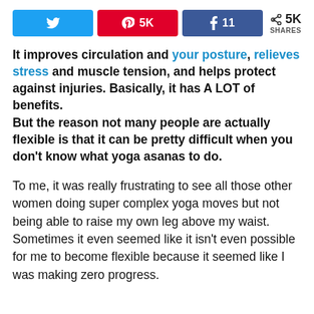[Figure (other): Social sharing buttons bar: Twitter button (blue), Pinterest button with 5K count (red), Facebook button with 11 count (blue), and 5K SHARES icon]
It improves circulation and your posture, relieves stress and muscle tension, and helps protect against injuries. Basically, it has A LOT of benefits. But the reason not many people are actually flexible is that it can be pretty difficult when you don't know what yoga asanas to do.
To me, it was really frustrating to see all those other women doing super complex yoga moves but not being able to raise my own leg above my waist. Sometimes it even seemed like it isn't even possible for me to become flexible because it seemed like I was making zero progress.